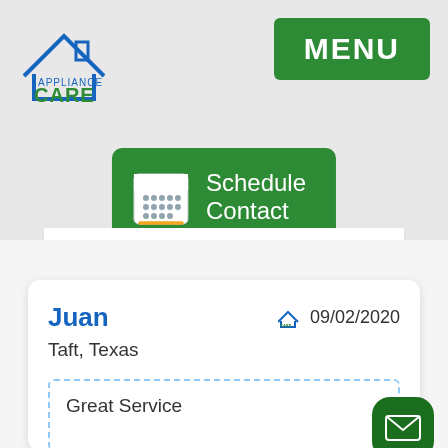[Figure (logo): Appliance Care logo with house icon in blue and green text]
MENU
Schedule Contact
Juan
09/02/2020
Taft, Texas
Great Service